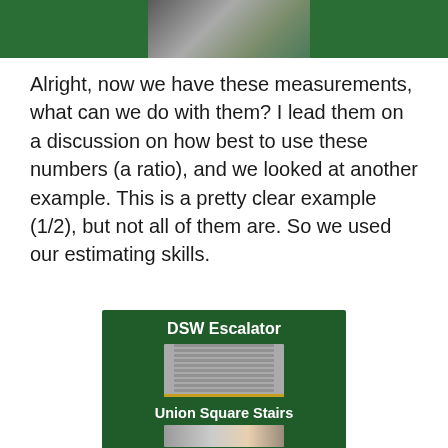[Figure (photo): Top strip showing a partial photo in the center with green background on left and right sides, depicting a person]
Alright, now we have these measurements, what can we do with them? I lead them on a discussion on how best to use these numbers (a ratio), and we looked at another example. This is a pretty clear example (1/2), but not all of them are. So we used our estimating skills.
[Figure (photo): DSW Escalator - image on dark green background showing an escalator with metal steps, title 'DSW Escalator' in white text at top]
[Figure (photo): Union Square Stairs - image on dark green background with title 'Union Square Stairs' in white text, partial photo of stairs visible at bottom]